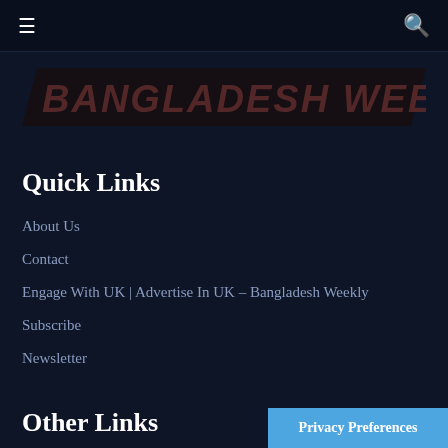Navigation bar with hamburger menu and search icon
[Figure (logo): Bangladesh Weekly logo in large slanted bold text on dark background]
Quick Links
About Us
Contact
Engage With UK | Advertise In UK – Bangladesh Weekly
Subscribe
Newsletter
Other Links
Privacy Preferences